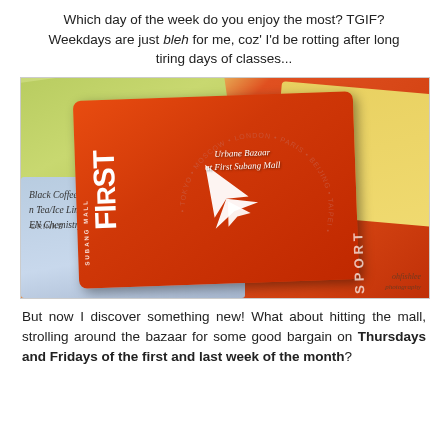Which day of the week do you enjoy the most? TGIF? Weekdays are just bleh for me, coz' I'd be rotting after long tiring days of classes...
[Figure (photo): Photo of an orange First Subang Mall passport-style holder with a white airplane silhouette, surrounded by green and yellow papers/tickets, and a blue paper with handwritten text about drinks]
But now I discover something new! What about hitting the mall, strolling around the bazaar for some good bargain on Thursdays and Fridays of the first and last week of the month?